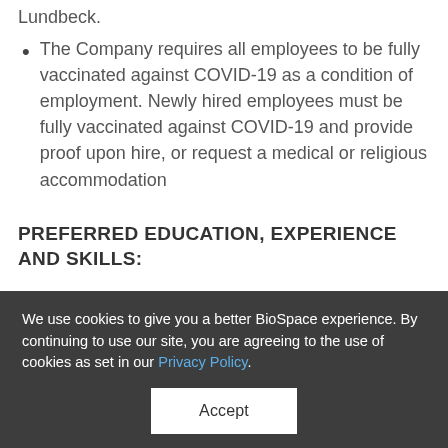Lundbeck.
The Company requires all employees to be fully vaccinated against COVID-19 as a condition of employment. Newly hired employees must be fully vaccinated against COVID-19 and provide proof upon hire, or request a medical or religious accommodation
PREFERRED EDUCATION, EXPERIENCE AND SKILLS:
We use cookies to give you a better BioSpace experience. By continuing to use our site, you are agreeing to the use of cookies as set in our Privacy Policy.
Accept